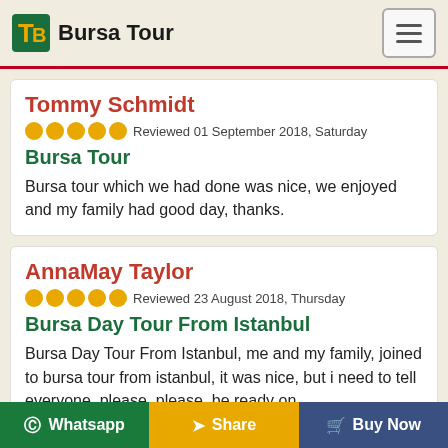Bursa Tour
Tommy Schmidt
★★★★★ Reviewed 01 September 2018, Saturday
Bursa Tour
Bursa tour which we had done was nice, we enjoyed and my family had good day, thanks.
AnnaMay Taylor
★★★★★ Reviewed 23 August 2018, Thursday
Bursa Day Tour From Istanbul
Bursa Day Tour From Istanbul, me and my family, joined to bursa tour from istanbul, it was nice, but i need to tell everyone, please, please, be ready on
© Whatsapp   Share   Buy Now